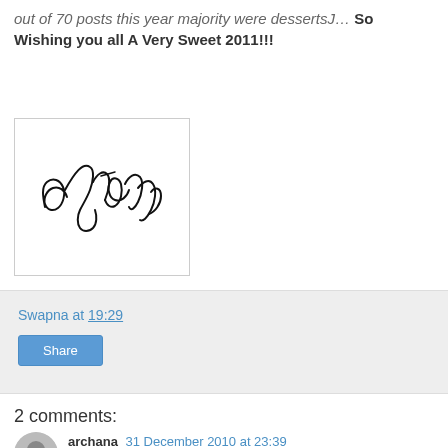out of 70 posts this year majority were dessertsJ… So Wishing you all A Very Sweet 2011!!!
[Figure (illustration): Handwritten cursive signature reading 'Swapna' in black ink on white background, inside a light gray bordered box.]
Swapna at 19:29
Share
2 comments:
archana 31 December 2010 at 23:39